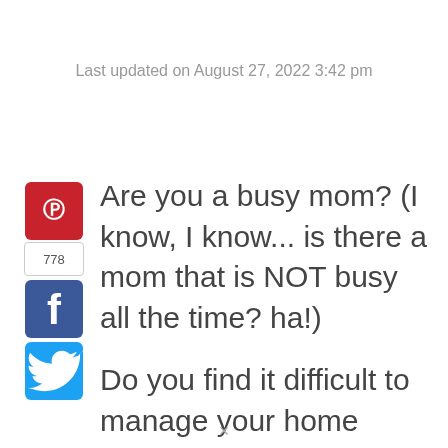Last updated on August 27, 2022 3:42 pm
[Figure (other): Social sharing buttons: Pinterest (red), share count 778, Facebook (blue), Twitter (blue bird)]
Are you a busy mom? (I know, I know... is there a mom that is NOT busy all the time? ha!)
Do you find it difficult to manage your home while taking care of the